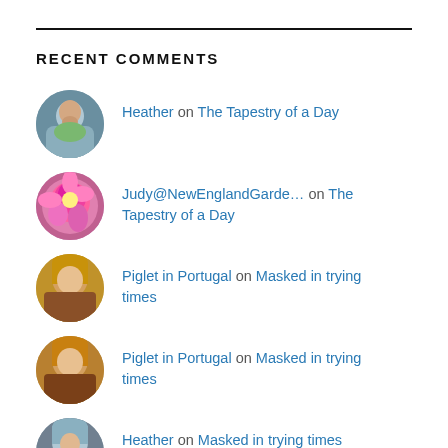RECENT COMMENTS
Heather on The Tapestry of a Day
Judy@NewEnglandGarde... on The Tapestry of a Day
Piglet in Portugal on Masked in trying times
Piglet in Portugal on Masked in trying times
Heather on Masked in trying times